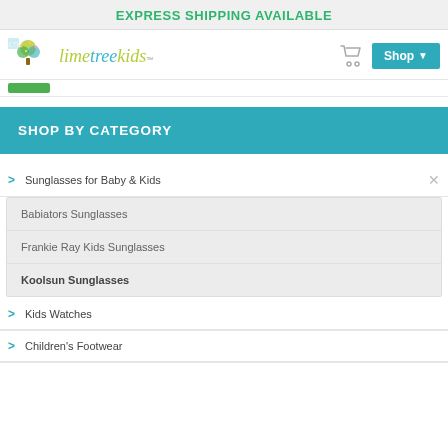EXPRESS SHIPPING AVAILABLE
[Figure (logo): Lime Tree Kids logo with tree illustration and stylized text]
SHOP BY CATEGORY
> Sunglasses for Baby & Kids
Babiators Sunglasses
Frankie Ray Kids Sunglasses
Koolsun Sunglasses
> Kids Watches
> Children's Footwear